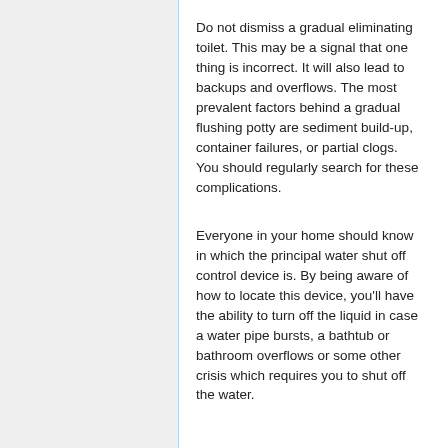Do not dismiss a gradual eliminating toilet. This may be a signal that one thing is incorrect. It will also lead to backups and overflows. The most prevalent factors behind a gradual flushing potty are sediment build-up, container failures, or partial clogs. You should regularly search for these complications.
Everyone in your home should know in which the principal water shut off control device is. By being aware of how to locate this device, you'll have the ability to turn off the liquid in case a water pipe bursts, a bathtub or bathroom overflows or some other crisis which requires you to shut off the water.